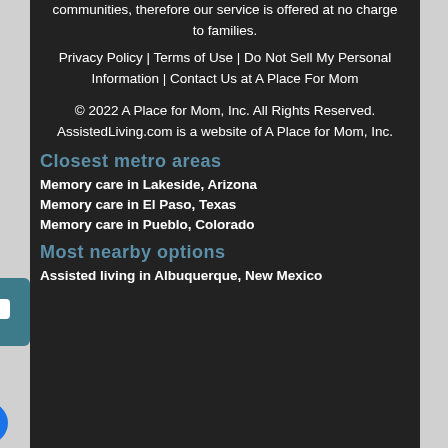communities, therefore our service is offered at no charge to families.
Privacy Policy | Terms of Use | Do Not Sell My Personal Information | Contact Us at A Place For Mom
© 2022 A Place for Mom, Inc. All Rights Reserved. AssistedLiving.com is a website of A Place for Mom, Inc.
Closest metro areas
Memory care in Lakeside, Arizona
Memory care in El Paso, Texas
Memory care in Pueblo, Colorado
Most nearby options
Assisted living in Albuquerque, New Mexico